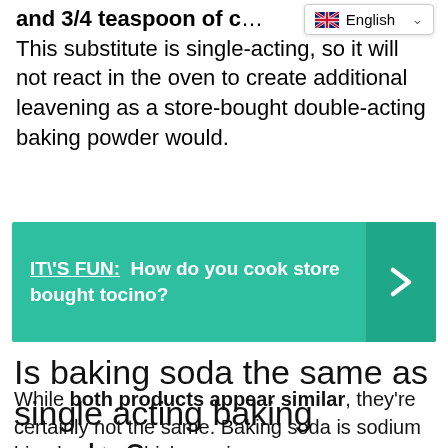and 3/4 teaspoon of c… This substitute is single-acting, so it will not react in the oven to create additional leavening as a store-bought double-acting baking powder would.
[Figure (infographic): Teal call-out box with text: IT\'S FUN: How do you cook store bought tocino? with a right-facing arrow on the right side. Language selector widget showing English with flag in top right corner.]
Is baking soda the same as single acting baking powder?
While both products appear similar, they're certainly not the same. Baking soda is sodium bicarbonate, which requires an